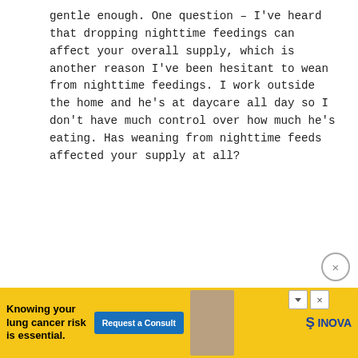gentle enough. One question – I've heard that dropping nighttime feedings can affect your overall supply, which is another reason I've been hesitant to wean from nighttime feedings. I work outside the home and he's at daycare all day so I don't have much control over how much he's eating. Has weaning from nighttime feeds affected your supply at all?
REPLY
Kathy says
January 10, 2019 at 12:42 pm
[Figure (other): Advertisement banner for INOVA lung cancer risk consult featuring an older man and a blue 'Request a Consult' button]